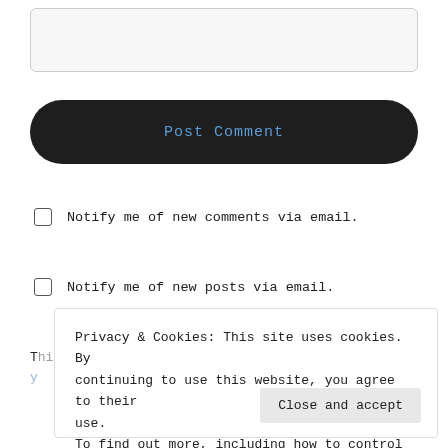[Figure (screenshot): Partially visible text input field at top of page]
Post Comment
Notify me of new comments via email.
Notify me of new posts via email.
Privacy & Cookies: This site uses cookies. By continuing to use this website, you agree to their use.
To find out more, including how to control cookies, see here: Cookie Policy
Close and accept